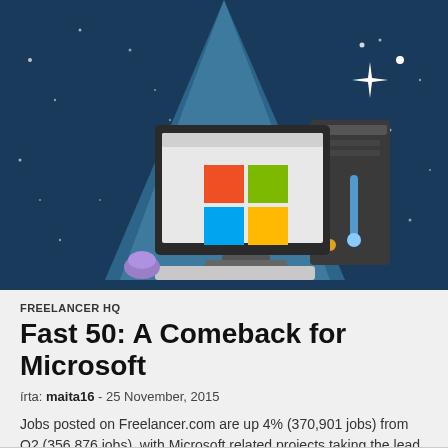[Figure (illustration): Illustrated scene with dark navy blue background and stars. A spotlight shines down from above onto a desktop computer setup featuring a monitor displaying the Microsoft Windows logo (four colored squares: red, green, blue, yellow), a dark tower PC case with a blue LED indicator, and a keyboard/mouse on a light surface. White sparkle/star decorations accent the scene.]
FREELANCER HQ
Fast 50: A Comeback for Microsoft
írta: maita16 - 25 November, 2015
Jobs posted on Freelancer.com are up 4% (370,901 jobs) from Q2 (356,876 jobs), with Microsoft related projects taking the lead.